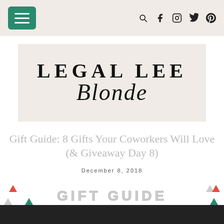Navigation bar with hamburger menu and social icons
[Figure (logo): Legal Lee Blonde blog logo on a pinkish-beige background]
Gift Guide: 8 Gifts Your Coworkers Will Love (& Giveaway Day 8)
December 8, 2018
GIFT GUIDE
[Figure (photo): Partial photo of gift guide items at bottom of page]